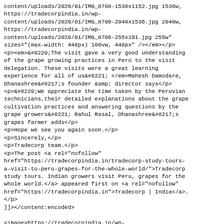content/uploads/2020/01/IMG_8708-1536x1152.jpg 1536w,
https://tradecorpindia.in/wp-content/uploads/2020/01/IMG_8708-2048x1536.jpg 2048w,
https://tradecorpindia.in/wp-content/uploads/2020/01/IMG_8708-255x191.jpg 255w"
sizes="(max-width: 448px) 100vw, 448px" /></em></p>
<p><em>&#8220;The visit gave a very good understanding of the grape growing practices in Perú to the visit delegation. These visits were a great learning experience for all of us&#8221; </em>Mahesh Damodare, Dhanashree&#8217;s founder &amp; director says</p>
<p>&#8220;We appreciate the time taken by the Peruvian technicians,their detailed explanations about the grape cultivation practices and answering questions by the grape growers&#8221; Rahul Rasal, Dhanashree&#8217;s grapes farmer adds</p>
<p>Hope we see you again soon.</p>
<p>Sincerely,</p>
<p>Tradecorp team.</p>
<p>The post <a rel="nofollow" href="https://tradecorpindia.in/tradecorp-study-tours-a-visit-to-peru-grapes-for-the-whole-world/">Tradecorp study tours. Indian growers visit Peru, grapes for the whole world.</a> appeared first on <a rel="nofollow" href="https://tradecorpindia.in">Tradecorp | India</a>.
</p>
]]></content:encoded>


</item>